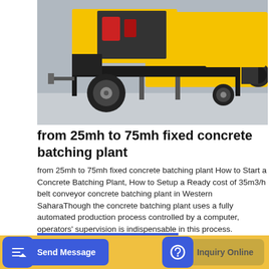[Figure (photo): Yellow and black concrete batching plant / pump machine on a wheeled trailer, shown outdoors on a concrete surface. Engine compartment open showing red components, with a large black output pipe visible on the right.]
from 25mh to 75mh fixed concrete batching plant
from 25mh to 75mh fixed concrete batching plant How to Start a Concrete Batching Plant, How to Setup a Ready cost of 35m3/h belt conveyor concrete batching plant in Western SaharaThough the concrete batching plant uses a fully automated production process controlled by a computer, operators' supervision is indispensable in this process.
GET A QUOTE
Send Message
Inquiry Online